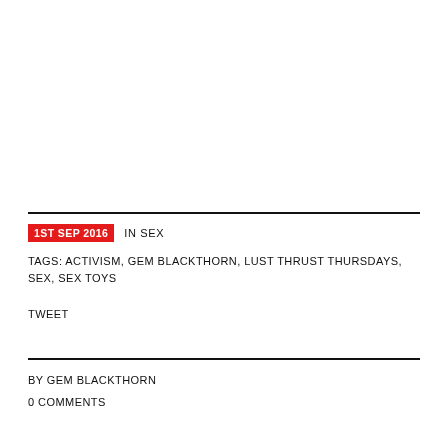1ST SEP 2016  IN SEX
TAGS: ACTIVISM, GEM BLACKTHORN, LUST THRUST THURSDAYS, SEX, SEX TOYS
TWEET
BY GEM BLACKTHORN
0 COMMENTS